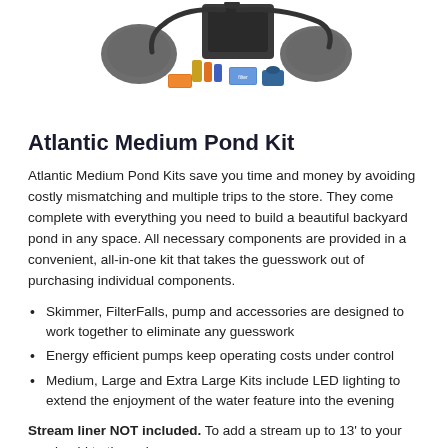[Figure (photo): Product photo showing Atlantic Medium Pond Kit components including skimmer, filter, pump, accessories, and boxes on a white background]
Atlantic Medium Pond Kit
Atlantic Medium Pond Kits save you time and money by avoiding costly mismatching and multiple trips to the store. They come complete with everything you need to build a beautiful backyard pond in any space. All necessary components are provided in a convenient, all-in-one kit that takes the guesswork out of purchasing individual components.
Skimmer, FilterFalls, pump and accessories are designed to work together to eliminate any guesswork
Energy efficient pumps keep operating costs under control
Medium, Large and Extra Large Kits include LED lighting to extend the enjoyment of the water feature into the evening
Stream liner NOT included. To add a stream up to 13' to your pond, add to the order: